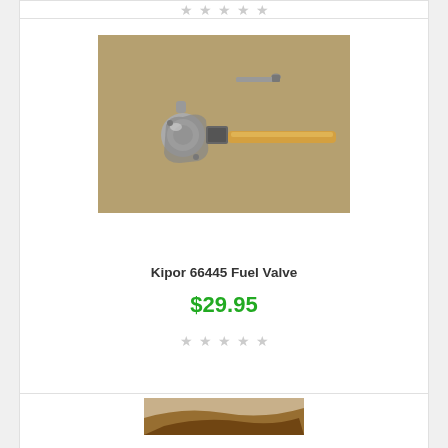[Figure (other): Five grey star rating icons in a row at the top of a product card]
[Figure (photo): Photo of a Kipor 66445 Fuel Valve — a metal fuel valve assembly with a round head, a rectangular nut fitting, and a long amber/translucent tube, plus a small screw shown separately above]
Kipor 66445 Fuel Valve
$29.95
[Figure (other): Five grey star rating icons in a row at the bottom of a product card]
[Figure (photo): Partial photo of another product at the bottom of the page (cropped, shows dark brownish hardware part)]